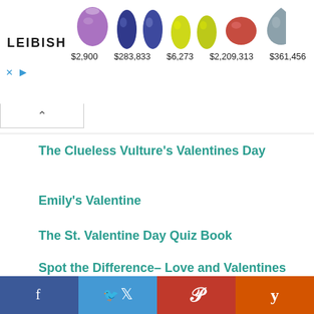[Figure (screenshot): LEIBISH gemstone advertisement banner showing 5 colored gemstones (purple amethyst, blue sapphires pair, yellow stones pair, red ruby, blue-gray pear) with prices $2,900, $283,833, $6,273, $2,209,313, $361,456]
The Clueless Vulture's Valentines Day
Emily's Valentine
The St. Valentine Day Quiz Book
Spot the Difference– Love and Valentines
My Love Is
[Figure (infographic): Social sharing bar with Facebook (dark blue), Twitter (light blue), Pinterest (red), and Yummly (orange) buttons]